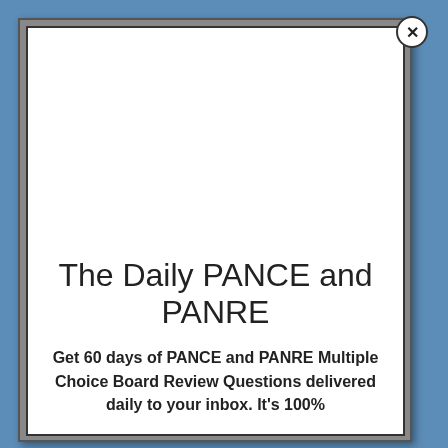The Daily PANCE and PANRE
Get 60 days of PANCE and PANRE Multiple Choice Board Review Questions delivered daily to your inbox. It's 100%